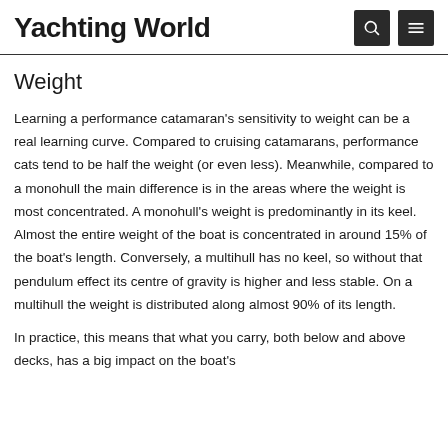Yachting World
Weight
Learning a performance catamaran's sensitivity to weight can be a real learning curve. Compared to cruising catamarans, performance cats tend to be half the weight (or even less). Meanwhile, compared to a monohull the main difference is in the areas where the weight is most concentrated. A monohull's weight is predominantly in its keel. Almost the entire weight of the boat is concentrated in around 15% of the boat's length. Conversely, a multihull has no keel, so without that pendulum effect its centre of gravity is higher and less stable. On a multihull the weight is distributed along almost 90% of its length.
In practice, this means that what you carry, both below and above decks, has a big impact on the boat's